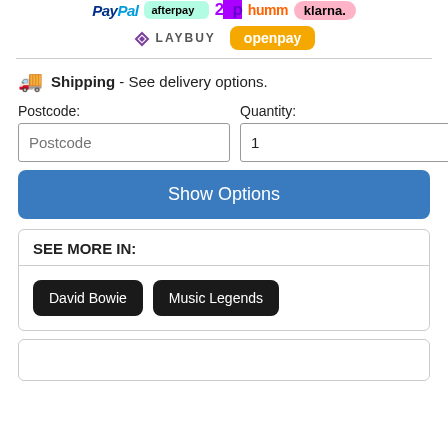[Figure (logo): Payment method logos: PayPal, Afterpay, Zip, Humm, Klarna, Laybuy, Openpay]
🚚 Shipping - See delivery options.
Postcode: [input] Quantity: 1 [input]
Show Options
SEE MORE IN:
David Bowie
Music Legends